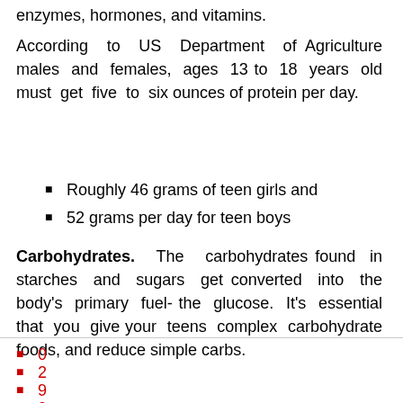enzymes, hormones, and vitamins.
According to US Department of Agriculture males and females, ages 13 to 18 years old must get five to six ounces of protein per day.
Roughly 46 grams of teen girls and
52 grams per day for teen boys
Carbohydrates. The carbohydrates found in starches and sugars get converted into the body's primary fuel-the glucose. It's essential that you give your teens complex carbohydrate foods, and reduce simple carbs.
0
2
9
0